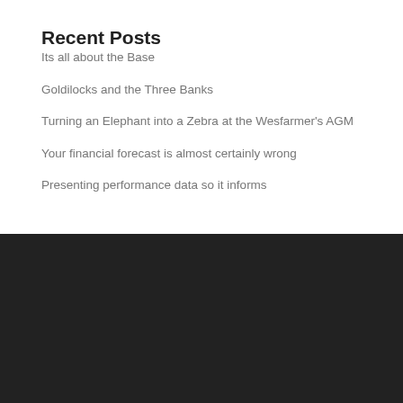Recent Posts
Its all about the Base
Goldilocks and the Three Banks
Turning an Elephant into a Zebra at the Wesfarmer's AGM
Your financial forecast is almost certainly wrong
Presenting performance data so it informs